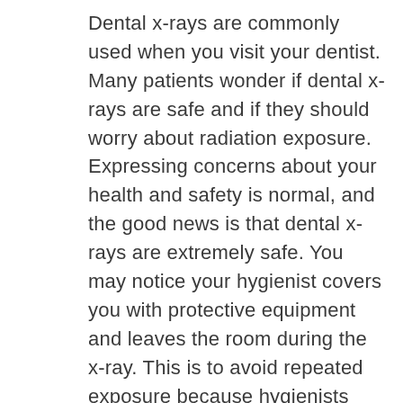Dental x-rays are commonly used when you visit your dentist. Many patients wonder if dental x-rays are safe and if they should worry about radiation exposure. Expressing concerns about your health and safety is normal, and the good news is that dental x-rays are extremely safe. You may notice your hygienist covers you with protective equipment and leaves the room during the x-ray. This is to avoid repeated exposure because hygienists perform x-rays daily as part of their cleaning and exam routines. The protective equipment placed on the patient helps to further protect your body and organs that are more sensitive to radiation exposure.
Every day we are exposed to levels of radiation naturally in the environment, and